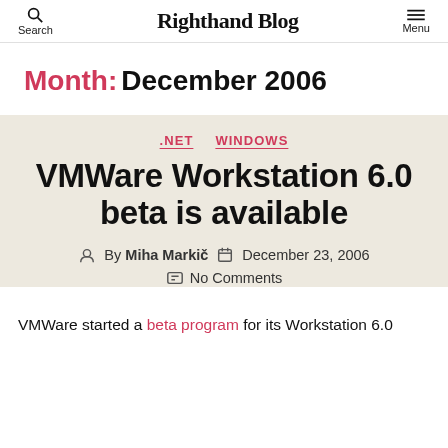Search | Righthand Blog | Menu
Month: December 2006
.NET   WINDOWS
VMWare Workstation 6.0 beta is available
By Miha Markič   December 23, 2006
No Comments
VMWare started a beta program for its Workstation 6.0